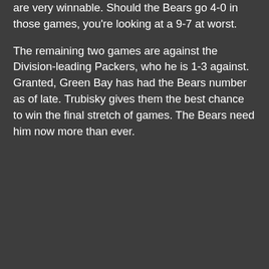are very winnable. Should the Bears go 4-0 in those games, you're looking at a 9-7 at worst.
The remaining two games are against the Division-leading Packers, who he is 1-3 against. Granted, Green Bay has had the Bears number as of late. Trubisky gives them the best chance to win the final stretch of games. The Bears need him now more than ever.